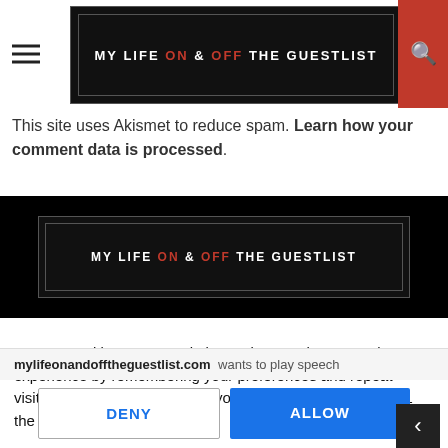MY LIFE ON & OFF THE GUESTLIST
This site uses Akismet to reduce spam. Learn how your comment data is processed.
[Figure (logo): My Life On & Off The Guestlist logo on black background]
We use cookies on our website to give you the most relevant experience by remembering your preferences and repeat visits. By clicking “Accept All”, you consent to the use of ALL the cookies.
mylifeonandofftheguestlist.com wants to play speech
DENY
ALLOW